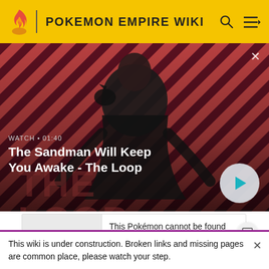POKEMON EMPIRE WIKI
[Figure (photo): Hero image for a wiki video: a dark-clad man with a raven on his shoulder against a red and dark diagonal stripe background. Text overlay: WATCH • 01:40, The Sandman Will Keep You Awake - The Loop. Play button on the right.]
| None |  |
| --- | --- |
| None | This Pokémon cannot be found holding an item. |
This wiki is under construction. Broken links and missing pages are common place, please watch your step.